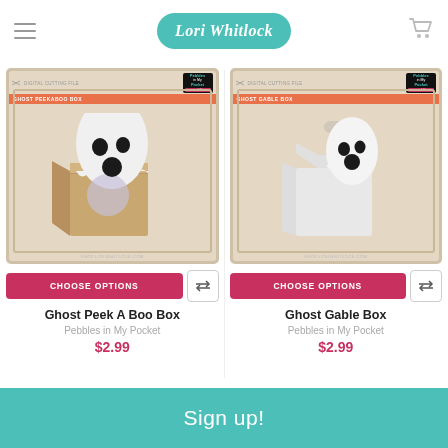Lori Whitlock
[Figure (photo): Ghost Peek A Boo Box product packaging — ghost figure with eyes and mouth on a cardboard box, digital cutting file by Pebbles in My Pocket]
[Figure (photo): Ghost Gable Box product packaging — ghost figure with eyes and mouth on a gable-style cardboard box, digital cutting file by Pebbles in My Pocket]
CHOOSE OPTIONS
CHOOSE OPTIONS
Ghost Peek A Boo Box
Pebbles in My Pocket
$2.99
Ghost Gable Box
Pebbles in My Pocket
$2.99
Sign up!